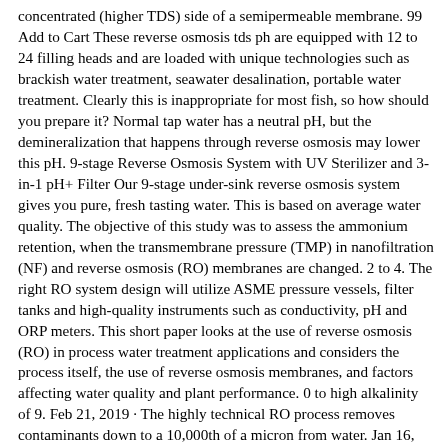concentrated (higher TDS) side of a semipermeable membrane. 99 Add to Cart These reverse osmosis tds ph are equipped with 12 to 24 filling heads and are loaded with unique technologies such as brackish water treatment, seawater desalination, portable water treatment. Clearly this is inappropriate for most fish, so how should you prepare it? Normal tap water has a neutral pH, but the demineralization that happens through reverse osmosis may lower this pH. 9-stage Reverse Osmosis System with UV Sterilizer and 3-in-1 pH+ Filter Our 9-stage under-sink reverse osmosis system gives you pure, fresh tasting water. This is based on average water quality. The objective of this study was to assess the ammonium retention, when the transmembrane pressure (TMP) in nanofiltration (NF) and reverse osmosis (RO) membranes are changed. 2 to 4. The right RO system design will utilize ASME pressure vessels, filter tanks and high-quality instruments such as conductivity, pH and ORP meters. This short paper looks at the use of reverse osmosis (RO) in process water treatment applications and considers the process itself, the use of reverse osmosis membranes, and factors affecting water quality and plant performance. 0 to high alkalinity of 9. Feb 21, 2019 · The highly technical RO process removes contaminants down to a 10,000th of a micron from water. Jan 16, 2017 · Under low pH conditions such as these, corrosion of steel, copper and brass is a potential problem. 31 mg/L BW30LE-440 = 55% (45-65%) 0. This  7 May 2017 Drinking water pH levels are recommended to be in the 6. As far as